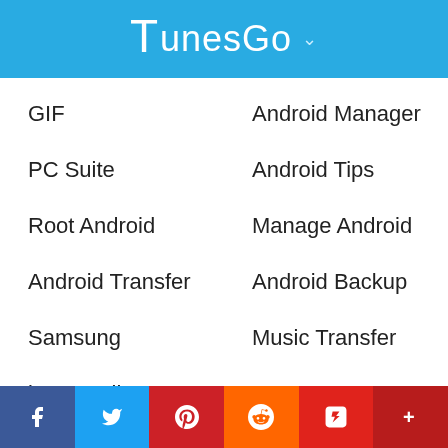TunesGo
GIF
Android Manager
PC Suite
Android Tips
Root Android
Manage Android
Android Transfer
Android Backup
Samsung
Music Transfer
iTunes Library
Products
Support